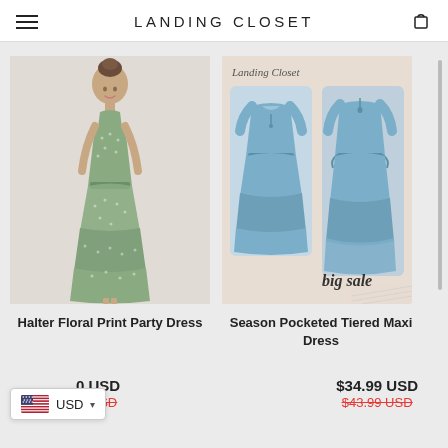LANDING CLOSET
[Figure (photo): Green halter floral print party dress worn by a woman, full length view]
Halter Floral Print Party Dress
[Figure (photo): Blue tiered maxi dress shown in two views (front and back) with Landing Closet branding and 'big sale' text overlay on a beige background]
Season Pocketed Tiered Maxi Dress
$34.99 USD
$43.99 USD